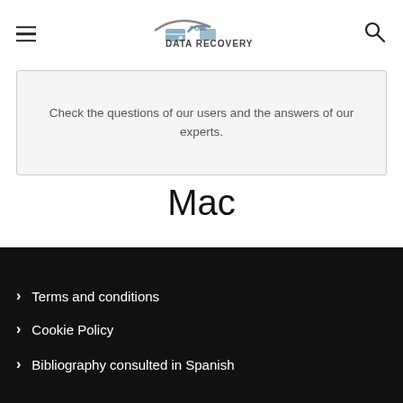FOR DATA RECOVERY
Check the questions of our users and the answers of our experts.
Mac
Terms and conditions
Cookie Policy
Bibliography consulted in Spanish